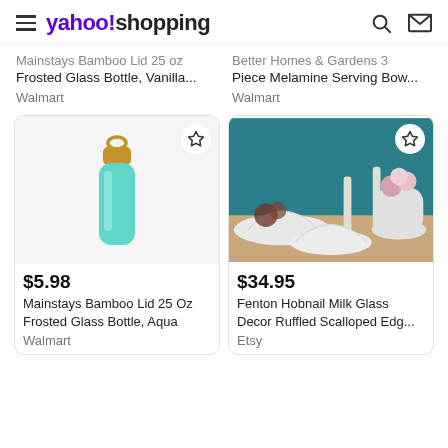yahoo!shopping
Mainstays Bamboo Lid 25 oz Frosted Glass Bottle, Vanilla...
Walmart
Better Homes & Gardens 3 Piece Melamine Serving Bow...
Walmart
[Figure (photo): Mainstays Bamboo Lid 25 Oz Frosted Glass Bottle in aqua/teal color with bamboo lid and loop handle, on white background]
$5.98
Mainstays Bamboo Lid 25 Oz Frosted Glass Bottle, Aqua
Walmart
[Figure (photo): Fenton Hobnail Milk Glass Decor with ruffled scalloped edge bowl and vase with flowers, candle holders on teal background]
$34.95
Fenton Hobnail Milk Glass Decor Ruffled Scalloped Edg...
Etsy